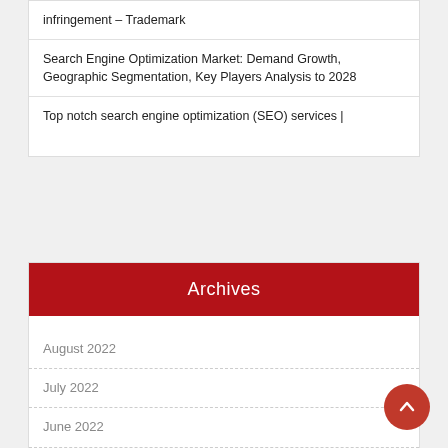infringement – Trademark
Search Engine Optimization Market: Demand Growth, Geographic Segmentation, Key Players Analysis to 2028
Top notch search engine optimization (SEO) services |
Archives
August 2022
July 2022
June 2022
May 2022